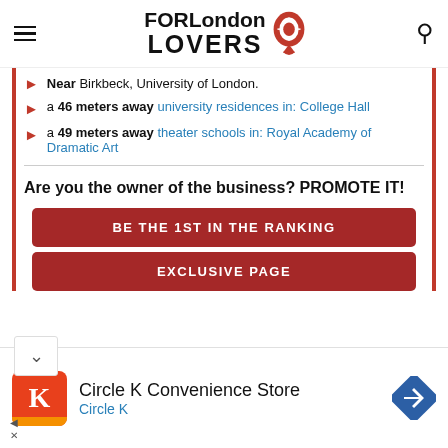[Figure (logo): FORLondon LOVERS logo with red location pin icon]
Near Birkbeck, University of London.
a 46 meters away university residences in: College Hall
a 49 meters away theater schools in: Royal Academy of Dramatic Art
Are you the owner of the business? PROMOTE IT!
BE THE 1ST IN THE RANKING
EXCLUSIVE PAGE
[Figure (infographic): Circle K Convenience Store advertisement with Circle K logo icon and navigation arrow icon]